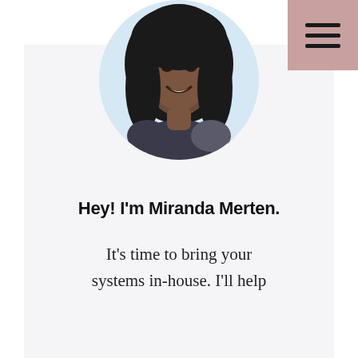[Figure (other): Hamburger menu icon (three horizontal bars) on a dusty rose/mauve pink background square in the top right corner]
[Figure (photo): Circular cropped black-and-white headshot photo of Miranda Merten, a smiling woman with long dark hair, against a light blue circular background]
Hey! I'm Miranda Merten.
It's time to bring your systems in-house. I'll help